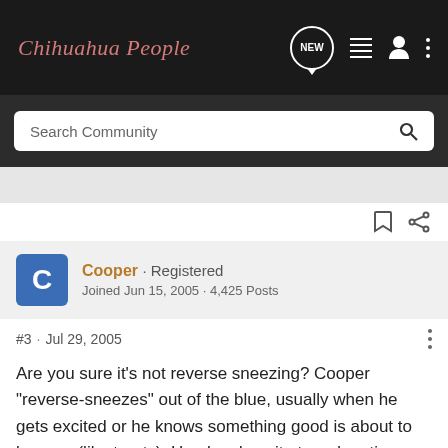Chihuahua People
Search Community
Cooper · Registered
Joined Jun 15, 2005 · 4,425 Posts
#3 · Jul 29, 2005
Are you sure it's not reverse sneezing? Cooper "reverse-sneezes" out of the blue, usually when he gets excited or he knows something good is about to happen (like treats). He also does it at random times.